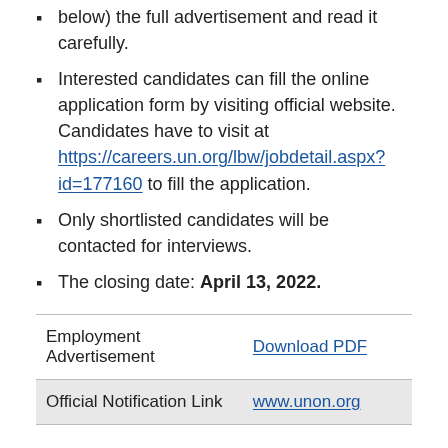below) the full advertisement and read it carefully.
Interested candidates can fill the online application form by visiting official website. Candidates have to visit at https://careers.un.org/lbw/jobdetail.aspx?id=177160 to fill the application.
Only shortlisted candidates will be contacted for interviews.
The closing date: April 13, 2022.
|  |  |
| --- | --- |
| Employment Advertisement | Download PDF |
| Official Notification Link | www.unon.org |
You may also like ...